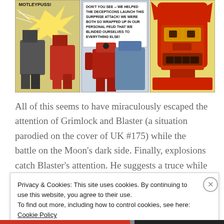[Figure (illustration): Three comic book panels showing Transformers characters. Left panel: robot characters with explosion effects on yellow background. Middle panel: red robot character with speech bubble text 'DON'T YOU SEE -- WE HELPED THE DECEPTICONS LAUNCH THIS SURPRISE ATTACK! WE WERE BOTH SO WRAPPED UP IN OUR PERSONAL FEUD THAT WE BLINDED OURSELVES TO EVERYTHING ELSE!'. Right panel: close-up of a large red and yellow robot face (Sentinel/Fortress Maximus style) on yellow background.]
All of this seems to have miraculously escaped the attention of Grimlock and Blaster (a situation parodied on the cover of UK #175) while the battle on the Moon's dark side. Finally, explosions catch Blaster's attention. He suggests a truce while they investigate. Grimlock on seeing Steelhaven blasting away, suspects treachery from Fort Max (or 'Fullstrength Motleypuss' as he
Privacy & Cookies: This site uses cookies. By continuing to use this website, you agree to their use.
To find out more, including how to control cookies, see here: Cookie Policy
Close and accept